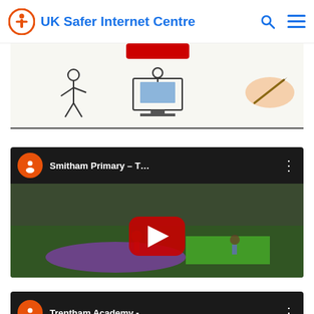UK Safer Internet Centre
[Figure (screenshot): Partially visible whiteboard animation screenshot showing cartoon figures and a hand drawing with a pen]
[Figure (screenshot): YouTube video embed thumbnail for 'Smitham Primary – T...' showing children on colorful mats in an outdoor area with a YouTube play button overlay]
[Figure (screenshot): Partially visible YouTube video embed thumbnail for 'Trentham Academy -...' showing a person's face]